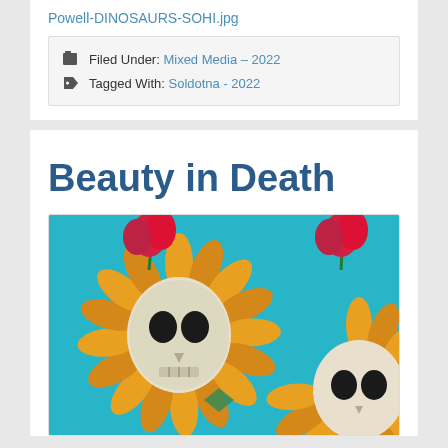Powell-DINOSAURS-SOHI.jpg
Filed Under: Mixed Media – 2022
Tagged With: Soldotna - 2022
Beauty in Death
[Figure (illustration): Artwork showing two skull-centered sunflowers with orange petals on a teal/turquoise background, with red poppy flowers above them. The skulls have dark eye sockets. The artwork appears to be a mixed media piece with colorful, stylized flowers.]